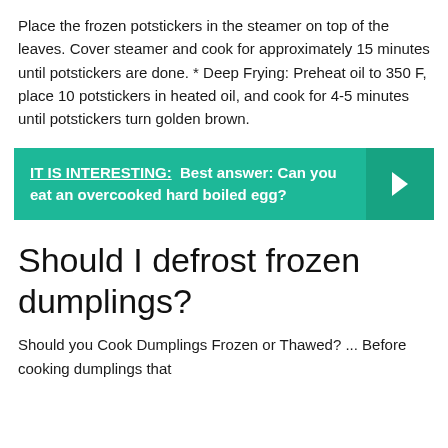Place the frozen potstickers in the steamer on top of the leaves. Cover steamer and cook for approximately 15 minutes until potstickers are done. * Deep Frying: Preheat oil to 350 F, place 10 potstickers in heated oil, and cook for 4-5 minutes until potstickers turn golden brown.
IT IS INTERESTING: Best answer: Can you eat an overcooked hard boiled egg?
Should I defrost frozen dumplings?
Should you Cook Dumplings Frozen or Thawed? ... Before cooking dumplings that